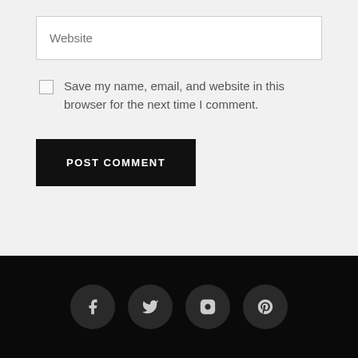Website
Save my name, email, and website in this browser for the next time I comment.
POST COMMENT
[Figure (other): Social media icons row: Facebook, Twitter, Instagram, Pinterest — white icons on dark circular backgrounds on a black footer bar]